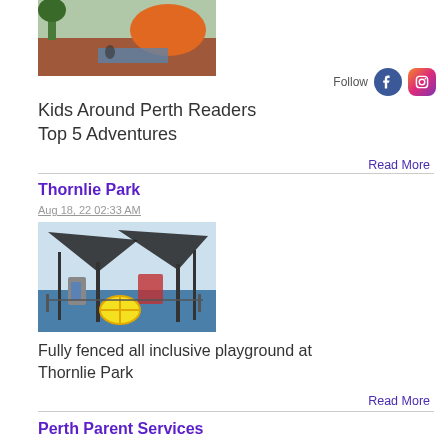[Figure (photo): Outdoor playground photo with orange climbing structure and reddish ground cover, child visible]
Follow
[Figure (logo): Facebook circular logo icon (blue)]
[Figure (logo): Instagram rounded square logo icon (gradient pink/purple)]
Kids Around Perth Readers Top 5 Adventures
Read More
Thornlie Park
Aug 18, 22 02:33 AM
[Figure (photo): Covered playground at Thornlie Park with shade sails, blue rubber flooring, yellow merry-go-round, slides]
Fully fenced all inclusive playground at Thornlie Park
Read More
Perth Parent Services